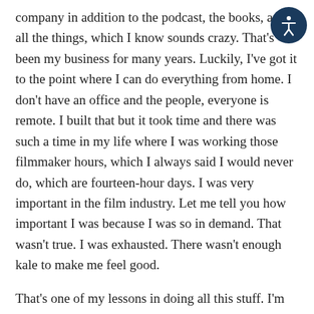company in addition to the podcast, the books, and all the things, which I know sounds crazy. That's been my business for many years. Luckily, I've got it to the point where I can do everything from home. I don't have an office and the people, everyone is remote. I built that but it took time and there was such a time in my life where I was working those filmmaker hours, which I always said I would never do, which are fourteen-hour days. I was very important in the film industry. Let me tell you how important I was because I was so in demand. That wasn't true. I was exhausted. There wasn't enough kale to make me feel good.
That's one of my lessons in doing all this stuff. I'm creating way more in less time because I've changed my approach to the way that I'm handling my business, to the way that I'm handling my clients, to the amount that I am outsourcing. That took quite a